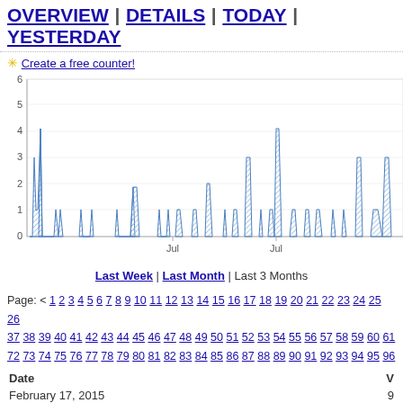OVERVIEW | DETAILS | TODAY | YESTERDAY
✳ Create a free counter!
[Figure (area-chart): Area chart showing visit counts over time with peaks around 3-4 range and two Jul markers]
Last Week | Last Month | Last 3 Months
Page: < 1 2 3 4 5 6 7 8 9 10 11 12 13 14 15 16 17 18 19 20 21 22 23 24 25 26 37 38 39 40 41 42 43 44 45 46 47 48 49 50 51 52 53 54 55 56 57 58 59 60 61 72 73 74 75 76 77 78 79 80 81 82 83 84 85 86 87 88 89 90 91 92 93 94 95 96
| Date | V |
| --- | --- |
| February 17, 2015 | 9 |
| February 16, 2015 | 7 |